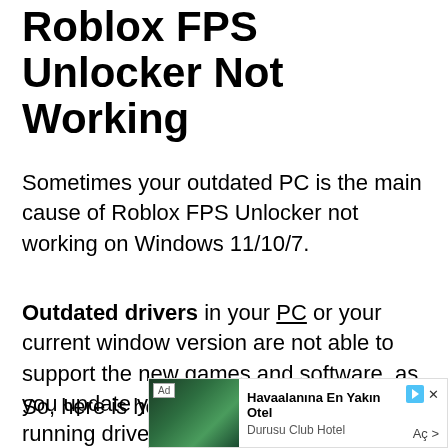Roblox FPS Unlocker Not Working
Sometimes your outdated PC is the main cause of Roblox FPS Unlocker not working on Windows 11/10/7.
Outdated drivers in your PC or your current window version are not able to support the new games and software, as you update your windows the whole running drivers are updated too.
So, here is how you can update Windows
[Figure (other): Advertisement banner for Havaalanına En Yakın Otel (Durusu Club Hotel) with a resort pool image thumbnail, play and close buttons, and a call-to-action link.]